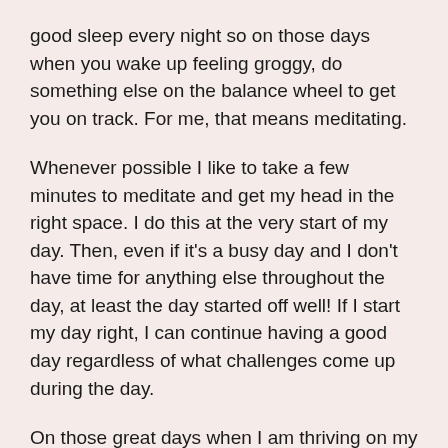good sleep every night so on those days when you wake up feeling groggy, do something else on the balance wheel to get you on track. For me, that means meditating.
Whenever possible I like to take a few minutes to meditate and get my head in the right space. I do this at the very start of my day. Then, even if it's a busy day and I don't have time for anything else throughout the day, at least the day started off well! If I start my day right, I can continue having a good day regardless of what challenges come up during the day.
On those great days when I am thriving on my balance wheel, I make time to get out to the gym! I prioritize my exercise and I highly recommend it! Schedule in a time slot at the gym, go for a run or